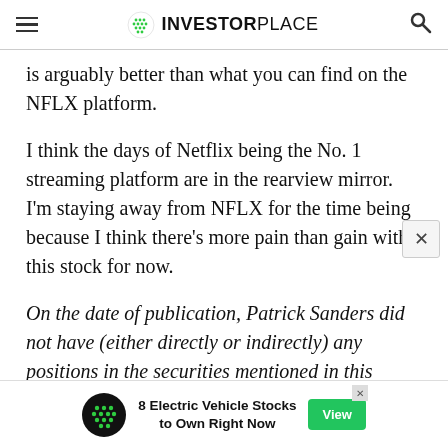INVESTORPLACE
is arguably better than what you can find on the NFLX platform.
I think the days of Netflix being the No. 1 streaming platform are in the rearview mirror. I'm staying away from NFLX for the time being because I think there's more pain than gain with this stock for now.
On the date of publication, Patrick Sanders did not have (either directly or indirectly) any positions in the securities mentioned in this article. The opinions expressed in this article are those of the writer, subjec
[Figure (infographic): Advertisement banner: 8 Electric Vehicle Stocks to Own Right Now, with View button]